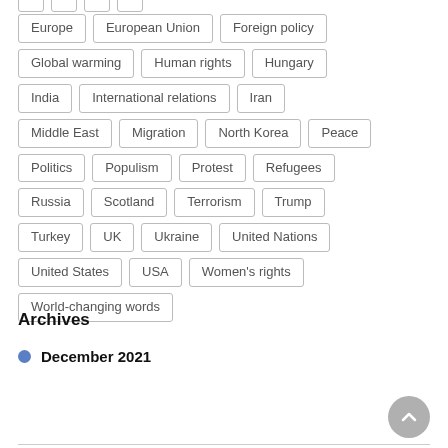Europe
European Union
Foreign policy
Global warming
Human rights
Hungary
India
International relations
Iran
Middle East
Migration
North Korea
Peace
Politics
Populism
Protest
Refugees
Russia
Scotland
Terrorism
Trump
Turkey
UK
Ukraine
United Nations
United States
USA
Women's rights
World-changing words
Archives
December 2021